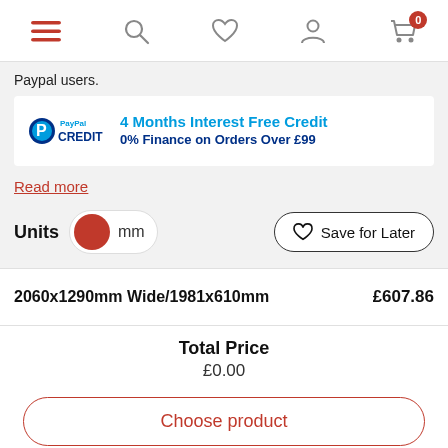[Figure (screenshot): Navigation bar with hamburger menu, search, heart/wishlist, user profile, and shopping cart icons. Cart shows badge with 0.]
Paypal users.
[Figure (logo): PayPal Credit banner: PayPal CREDIT logo on left, text '4 Months Interest Free Credit 0% Finance on Orders Over £99' on right in blue.]
Read more
Units  mm
Save for Later
2060x1290mm Wide/1981x610mm
£607.86
Total Price
£0.00
Choose product